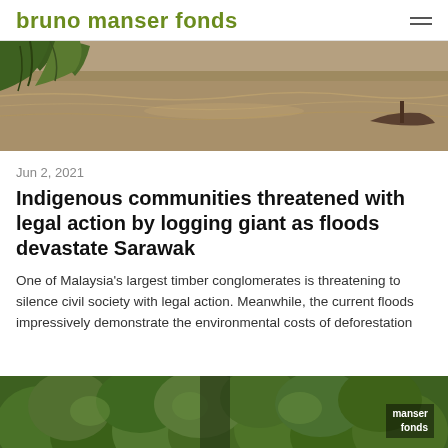bruno manser fonds
[Figure (photo): Flooded river scene with muddy brown water, trees partially submerged on the left, and a boat visible on the right side.]
Jun 2, 2021
Indigenous communities threatened with legal action by logging giant as floods devastate Sarawak
One of Malaysia's largest timber conglomerates is threatening to silence civil society with legal action. Meanwhile, the current floods impressively demonstrate the environmental costs of deforestation
[Figure (photo): Aerial view of dense green rainforest canopy with a watermark reading 'manser fonds' in the bottom right corner.]